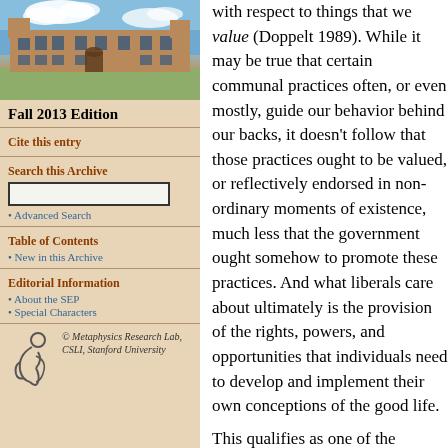[Figure (photo): Photograph of a historic stone university building with blue sky and clouds]
Fall 2013 Edition
Cite this entry
Search this Archive
Advanced Search
Table of Contents
New in this Archive
Editorial Information
About the SEP
Special Characters
© Metaphysics Research Lab, CSLI, Stanford University
with respect to things that we value (Doppelt 1989). While it may be true that certain communal practices often, or even mostly, guide our behavior behind our backs, it doesn't follow that those practices ought to be valued, or reflectively endorsed in non-ordinary moments of existence, much less that the government ought somehow to promote these practices. And what liberals care about ultimately is the provision of the rights, powers, and opportunities that individuals need to develop and implement their own conceptions of the good life.

This qualifies as one of the...